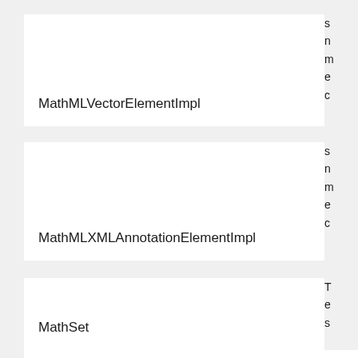MathMLVectorElementImpl
s
n
m
e
c
MathMLXMLAnnotationElementImpl
s
n
m
e
c
MathSet
T
e
s
MathVector
T
c
a
s
e